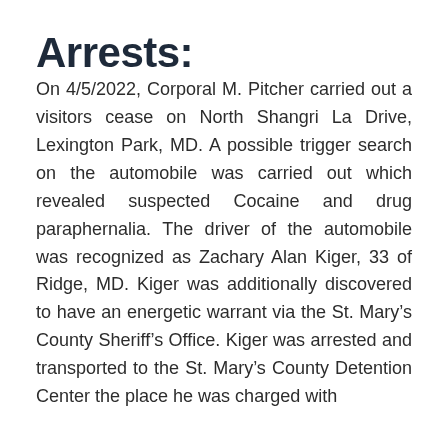Arrests:
On 4/5/2022, Corporal M. Pitcher carried out a visitors cease on North Shangri La Drive, Lexington Park, MD. A possible trigger search on the automobile was carried out which revealed suspected Cocaine and drug paraphernalia. The driver of the automobile was recognized as Zachary Alan Kiger, 33 of Ridge, MD. Kiger was additionally discovered to have an energetic warrant via the St. Mary’s County Sheriff’s Office. Kiger was arrested and transported to the St. Mary’s County Detention Center the place he was charged with